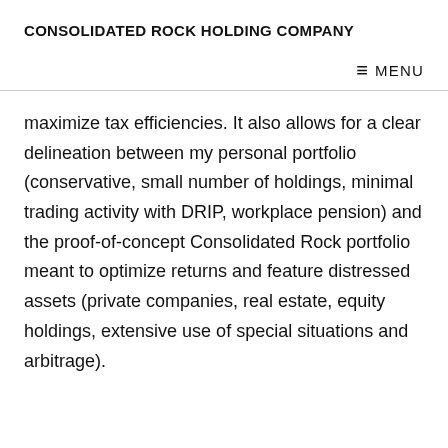CONSOLIDATED ROCK HOLDING COMPANY
≡ MENU
maximize tax efficiencies. It also allows for a clear delineation between my personal portfolio (conservative, small number of holdings, minimal trading activity with DRIP, workplace pension) and the proof-of-concept Consolidated Rock portfolio meant to optimize returns and feature distressed assets (private companies, real estate, equity holdings, extensive use of special situations and arbitrage).